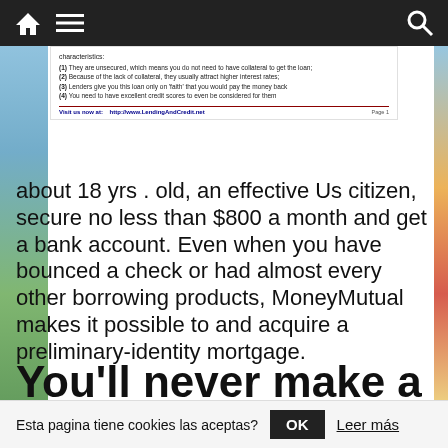Navigation bar with home, menu, and search icons
characteristics:
(1) They are unsecured, which means you do not need to have collateral to get the loan;
(2) Because of the lack of collateral, they usually attract higher interest rates;
(3) Lenders give you this loan only on 'faith' that you would pay the money back
(4) You need to have excellent credit scores to even be considered for them
Visit us now at:    http://www.LendingAndCredit.net    Page 1
about 18 yrs . old, an effective Us citizen, secure no less than $800 a month and get a bank account. Even when you have bounced a check or had almost every other borrowing products, MoneyMutual makes it possible to and acquire a preliminary-identity mortgage.
You'll never make a